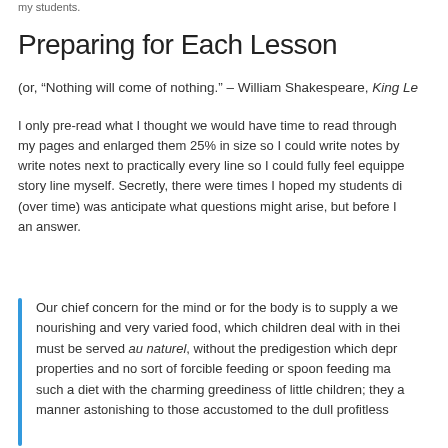my students.
Preparing for Each Lesson
(or, “Nothing will come of nothing.” – William Shakespeare, King Lea
I only pre-read what I thought we would have time to read through my pages and enlarged them 25% in size so I could write notes by write notes next to practically every line so I could fully feel equippe story line myself. Secretly, there were times I hoped my students di (over time) was anticipate what questions might arise, but before I an answer.
Our chief concern for the mind or for the body is to supply a we nourishing and very varied food, which children deal with in thei must be served au naturel, without the predigestion which depr properties and no sort of forcible feeding or spoon feeding ma such a diet with the charming greediness of little children; they a manner astonishing to those accustomed to the dull profitless